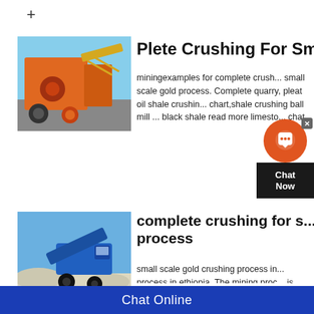+
[Figure (photo): Orange industrial crushing machine at a mining site with blue sky background]
Plete Crushing For Sma
miningexamples for complete crush... small scale gold process. Complete quarry, pleat oil shale crushing chart,shale crushing ball mill black shale read more limesto... chat.
[Figure (photo): Blue mobile crushing machine on white sand/gravel with blue sky background]
complete crushing for s... process
small scale gold crushing process in... process in ethiopia. The mining proc... is ethiopias main mineral export an... ancient times primarily as alluvial or... subsidiary companies administered...
[Figure (other): Chat widget overlay with orange bubble icon and Chat Now button]
Chat Online